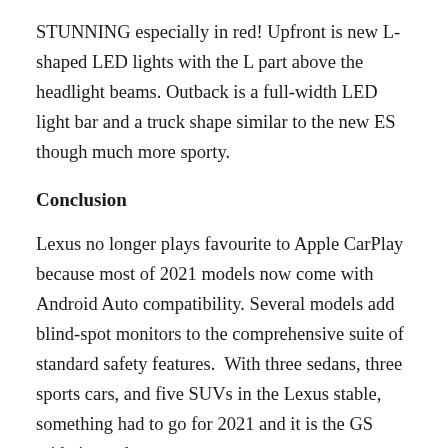STUNNING especially in red! Upfront is new L-shaped LED lights with the L part above the headlight beams. Outback is a full-width LED light bar and a truck shape similar to the new ES though much more sporty.
Conclusion
Lexus no longer plays favourite to Apple CarPlay because most of 2021 models now come with Android Auto compatibility. Several models add blind-spot monitors to the comprehensive suite of standard safety features.  With three sedans, three sports cars, and five SUVs in the Lexus stable, something had to go for 2021 and it is the GS mid-size sedan.